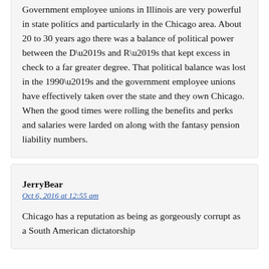Government employee unions in Illinois are very powerful in state politics and particularly in the Chicago area. About 20 to 30 years ago there was a balance of political power between the D’s and R’s that kept excess in check to a far greater degree. That political balance was lost in the 1990’s and the government employee unions have effectively taken over the state and they own Chicago. When the good times were rolling the benefits and perks and salaries were larded on along with the fantasy pension liability numbers.
JerryBear
Oct 6, 2016 at 12:55 am
Chicago has a reputation as being as gorgeously corrupt as a South American dictatorship